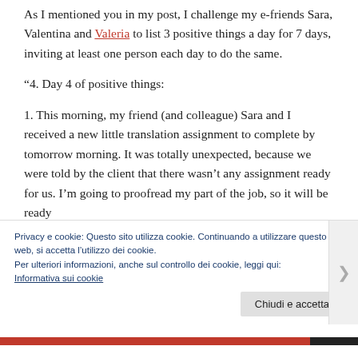As I mentioned you in my post, I challenge my e-friends Sara, Valentina and Valeria to list 3 positive things a day for 7 days, inviting at least one person each day to do the same.
“4. Day 4 of positive things:
1. This morning, my friend (and colleague) Sara and I received a new little translation assignment to complete by tomorrow morning. It was totally unexpected, because we were told by the client that there wasn’t any assignment ready for us. I’m going to proofread my part of the job, so it will be ready
Privacy e cookie: Questo sito utilizza cookie. Continuando a utilizzare questo sito web, si accetta l’utilizzo dei cookie.
Per ulteriori informazioni, anche sul controllo dei cookie, leggi qui:
Informativa sui cookie
Chiudi e accetta